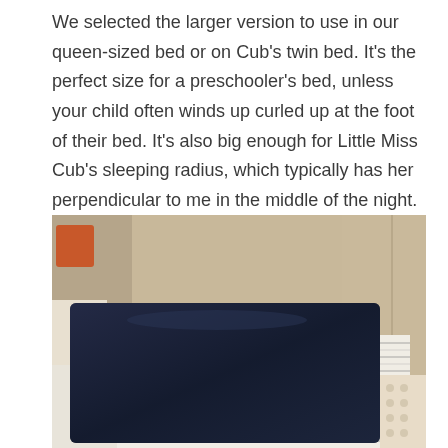We selected the larger version to use in our queen-sized bed or on Cub's twin bed. It's the perfect size for a preschooler's bed, unless your child often winds up curled up at the foot of their bed. It's also big enough for Little Miss Cub's sleeping radius, which typically has her perpendicular to me in the middle of the night.
[Figure (photo): A dark navy blue blanket/pad laid flat on a child's bed with a striped mattress cover. The bed is against a tan/beige wall. There is a small orange item visible in the background on the left, and polka dot fabric visible on the right side.]